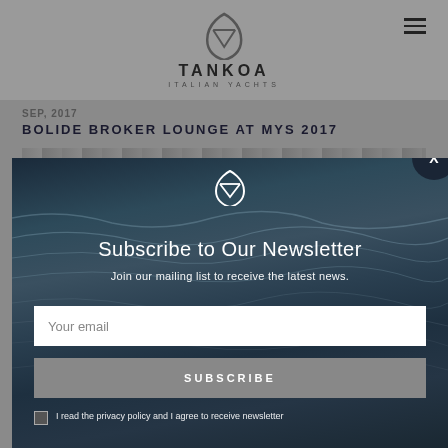[Figure (logo): Tankoa Italian Yachts logo with shield/drop shape icon above text]
SEP, 2017
BOLIDE BROKER LOUNGE AT MYS 2017
[Figure (screenshot): Newsletter subscription modal overlay on ocean/sea background. Contains Tankoa shield logo, title 'Subscribe to Our Newsletter', subtitle 'Join our mailing list to receive the latest news.', email input field, SUBSCRIBE button, and privacy policy checkbox.]
Subscribe to Our Newsletter
Join our mailing list to receive the latest news.
Your email
SUBSCRIBE
I read the privacy policy and I agree to receive newsletter